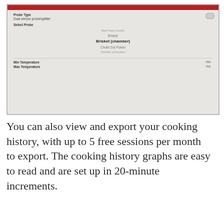[Figure (screenshot): Screenshot of a cooking probe app interface showing Probe Type set to 'Dual sensor probe/splitter', Select Probe dropdown with options including Beef been (cook), Brisket, Brisket (chamber) selected in bold, Chulio Sul Puedo, Chicken (chamber), and Min Temperature / Max Temperature fields with values 780 and 795.]
You can also view and export your cooking history, with up to 5 free sessions per month to export. The cooking history graphs are easy to read and are set up in 20-minute increments.